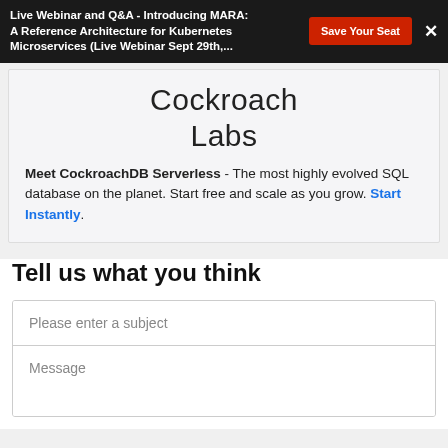Live Webinar and Q&A - Introducing MARA: A Reference Architecture for Kubernetes Microservices (Live Webinar Sept 29th,...
[Figure (logo): Cockroach Labs logo text]
Meet CockroachDB Serverless - The most highly evolved SQL database on the planet. Start free and scale as you grow. Start Instantly.
Tell us what you think
Please enter a subject
Message